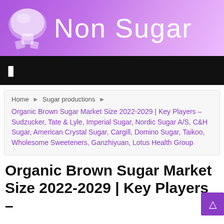Non Sugar
☰
Home › Sugar productions ›
Organic Brown Sugar Market Size 2022-2029 | Key Players – Sudzucker, Tate & Lyle, Imperial Sugar, Nordic Sugar A/S, C&H Sugar, American Crystal Sugar, Cargill, Domino Sugar, Taikoo, Wholesome Sweeteners, Ganzhiyuan, Lotus Health Group
Organic Brown Sugar Market Size 2022-2029 | Key Players –